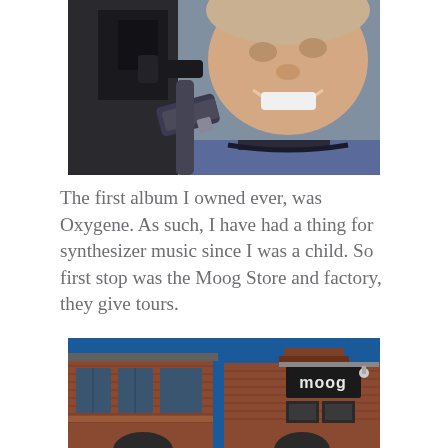[Figure (photo): Selfie of a smiling man in a blue ringer t-shirt, close-up showing his face and upper body, with dark equipment visible in the background]
The first album I owned ever, was Oxygene. As such, I have had a thing for synthesizer music since I was a child. So first stop was the Moog Store and factory, they give tours.
[Figure (photo): Two photos side by side of the Moog Store and factory building exterior. Left photo shows a brick building with large windows. Right photo shows the Moog logo sign on a brick building facade against a blue sky.]